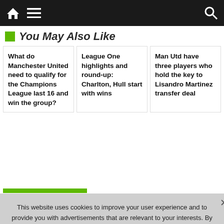Home | Menu | Search
You May Also Like
What do Manchester United need to qualify for the Champions League last 16 and win the group?
League One highlights and round-up: Charlton, Hull start with wins
Man Utd have three players who hold the key to Lisandro Martinez transfer deal
This website uses cookies to improve your user experience and to provide you with advertisements that are relevant to your interests. By continuing to browse the site you are agreeing to our use of cookies.
Ok